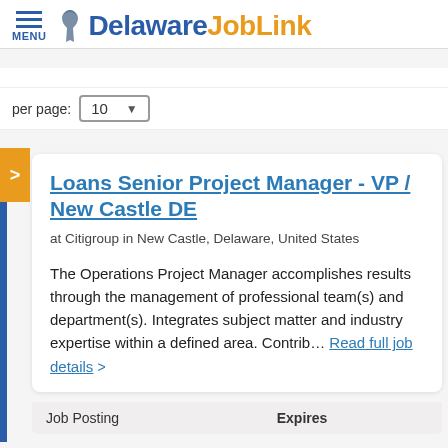MENU  Delaware JobLink
per page: 10
Loans Senior Project Manager - VP / New Castle DE
at Citigroup in New Castle, Delaware, United States
The Operations Project Manager accomplishes results through the management of professional team(s) and department(s). Integrates subject matter and industry expertise within a defined area. Contrib... Read full job details >
| Job Posting | Expires |
| --- | --- |